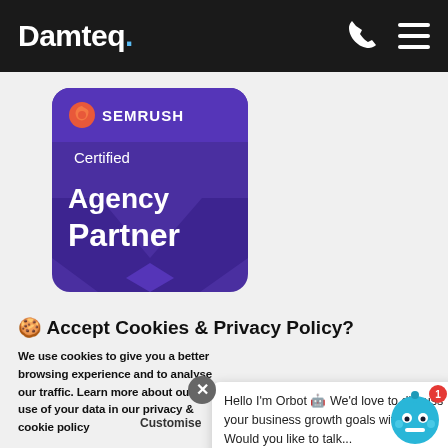Damteq.
[Figure (logo): SEMrush Certified Agency Partner badge — purple rounded square with SEMrush logo and text 'Certified Agency Partner' with a purple geometric chevron/diamond shape]
🍪 Accept Cookies & Privacy Policy?
We use cookies to give you a better browsing experience and to analyse our traffic. Learn more about our use of your data in our privacy & cookie policy
Hello I'm Orbot 🤖 We'd love to discuss your business growth goals with you. Would you like to talk...
Customise